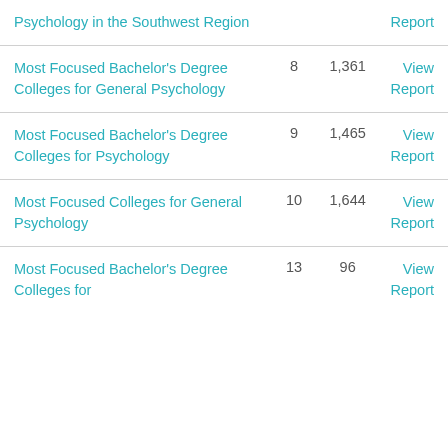| Report Name | Rank | Count | Link |
| --- | --- | --- | --- |
| Psychology in the Southwest Region |  |  | View Report |
| Most Focused Bachelor's Degree Colleges for General Psychology | 8 | 1,361 | View Report |
| Most Focused Bachelor's Degree Colleges for Psychology | 9 | 1,465 | View Report |
| Most Focused Colleges for General Psychology | 10 | 1,644 | View Report |
| Most Focused Bachelor's Degree Colleges for | 13 | 96 | View Report |